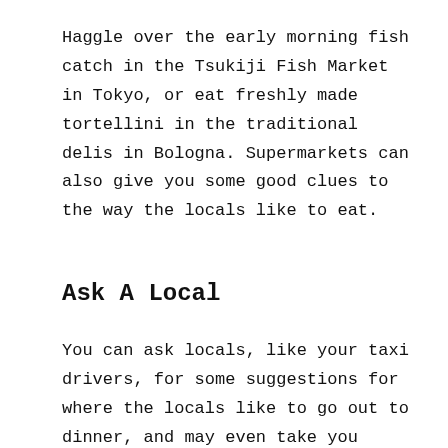Haggle over the early morning fish catch in the Tsukiji Fish Market in Tokyo, or eat freshly made tortellini in the traditional delis in Bologna. Supermarkets can also give you some good clues to the way the locals like to eat.
Ask A Local
You can ask locals, like your taxi drivers, for some suggestions for where the locals like to go out to dinner, and may even take you there. Instead of asking the hotel concierge for directions to nearby restaurants where the tourists go, ask them where they like to go for meals with their friends.